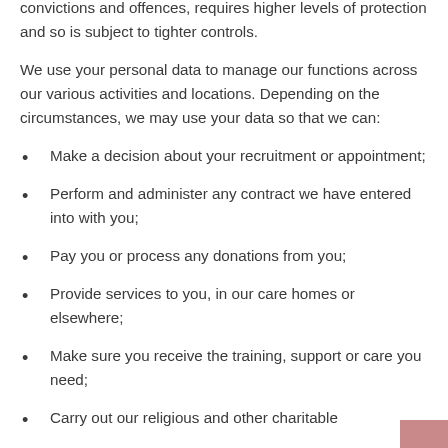convictions and offences, requires higher levels of protection and so is subject to tighter controls.
We use your personal data to manage our functions across our various activities and locations. Depending on the circumstances, we may use your data so that we can:
Make a decision about your recruitment or appointment;
Perform and administer any contract we have entered into with you;
Pay you or process any donations from you;
Provide services to you, in our care homes or elsewhere;
Make sure you receive the training, support or care you need;
Carry out our religious and other charitable